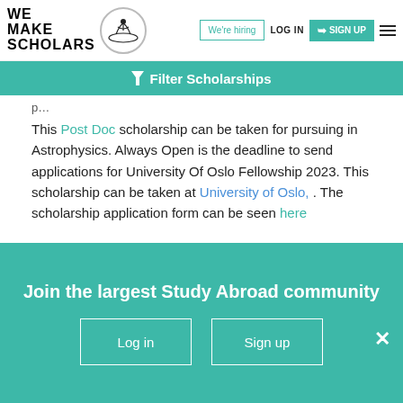We Make Scholars — We're hiring | LOG IN | SIGN UP
Filter Scholarships
This Post Doc scholarship can be taken for pursuing in Astrophysics. Always Open is the deadline to send applications for University Of Oslo Fellowship 2023. This scholarship can be taken at University of Oslo, . The scholarship application form can be seen here
Check out other international scholarships, fellowships and grants offered by University of Oslo.
Join the largest Study Abroad community
Log in
Sign up